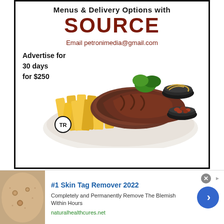Menus & Delivery Options with
SOURCE
Email petronimedia@gmail.com
Advertise for
30 days
for $250
[Figure (photo): Plate of steak with french fries, garnish, and two small side bowls with onion rings and beans]
#1 Skin Tag Remover 2022
Completely and Permanently Remove The Blemish Within Hours
naturalhealthcures.net
[Figure (photo): Close-up photo of skin with small bumps/skin tags]